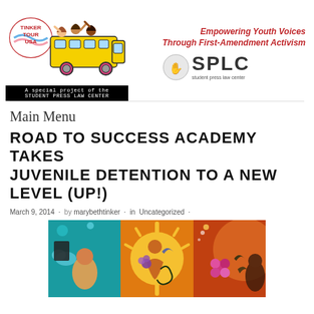[Figure (logo): Tinker Tour USA logo with yellow school bus and children, plus SPLC Student Press Law Center banner and tagline 'Empowering Youth Voices Through First-Amendment Activism']
Main Menu
ROAD TO SUCCESS ACADEMY TAKES JUVENILE DETENTION TO A NEW LEVEL (UP!)
March 9, 2014 · by marybethtinker · in Uncategorized ·
[Figure (photo): Colorful mural painting showing figures of women and a sun with floral motifs on teal and orange background]